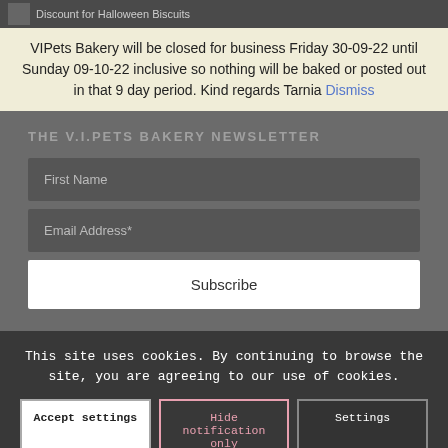Discount for Halloween Biscuits
VIPets Bakery will be closed for business Friday 30-09-22 until Sunday 09-10-22 inclusive so nothing will be baked or posted out in that 9 day period. Kind regards Tarnia Dismiss
THE V.I.PETS BAKERY NEWSLETTER
First Name
Email Address*
Subscribe
This site uses cookies. By continuing to browse the site, you are agreeing to our use of cookies.
Accept settings
Hide notification only
Settings
Trading Terms   My Account